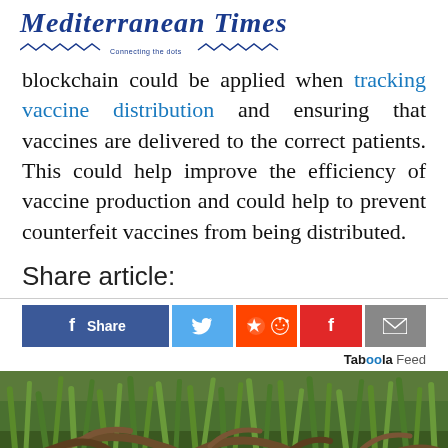Mediterranean Times — Connecting the dots
blockchain could be applied when tracking vaccine distribution and ensuring that vaccines are delivered to the correct patients. This could help improve the efficiency of vaccine production and could help to prevent counterfeit vaccines from being distributed.
Share article:
[Figure (infographic): Social share buttons: Facebook Share, Twitter, Reddit, Flipboard, Email]
Taboola Feed
[Figure (photo): Close-up photo of dead twigs/branches among green grass blades]